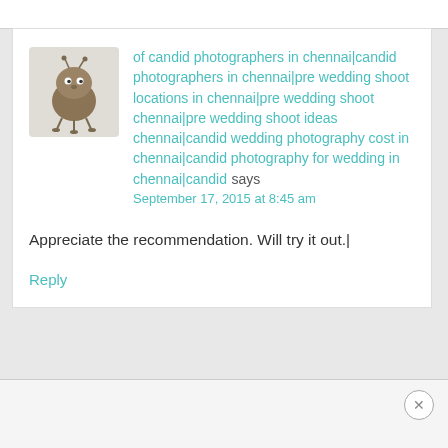[Figure (illustration): Small cartoon avatar of a round brown creature with antennae and stick legs]
of candid photographers in chennai|candid photographers in chennai|pre wedding shoot locations in chennai|pre wedding shoot chennai|pre wedding shoot ideas chennai|candid wedding photography cost in chennai|candid photography for wedding in chennai|candid says September 17, 2015 at 8:45 am
Appreciate the recommendation. Will try it out.|
Reply